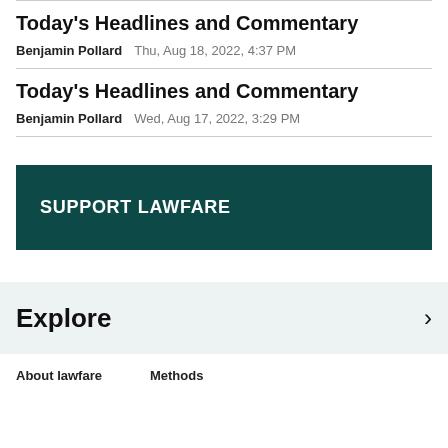Today's Headlines and Commentary
Benjamin Pollard   Thu, Aug 18, 2022, 4:37 PM
Today's Headlines and Commentary
Benjamin Pollard   Wed, Aug 17, 2022, 3:29 PM
SUPPORT LAWFARE
Explore
About lawfare    Methods